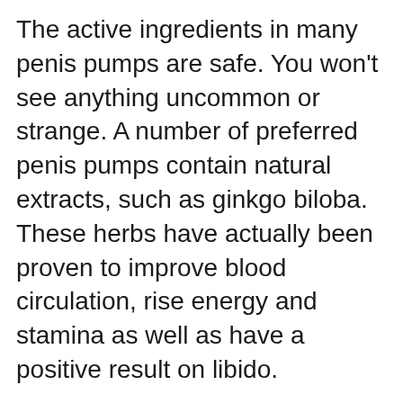The active ingredients in many penis pumps are safe. You won't see anything uncommon or strange. A number of preferred penis pumps contain natural extracts, such as ginkgo biloba. These herbs have actually been proven to improve blood circulation, rise energy and stamina as well as have a positive result on libido.
Gene Therapy To Make Your Dick Bigger
Among the most effective parts of this system is the trigger hold. This is an unique style that is similar to the typical masturbation function yet with a much quicker release time. This causes a more extreme climax and also will certainly assist a male to achieve a brand-new erection